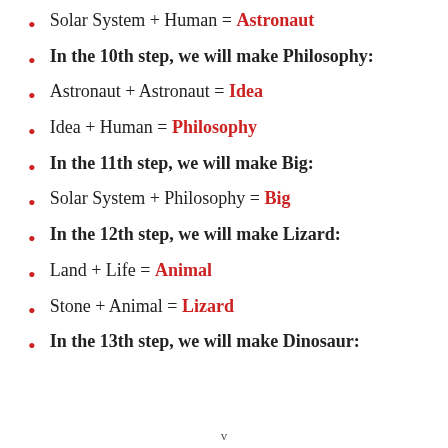Solar System + Human = Astronaut
In the 10th step, we will make Philosophy:
Astronaut + Astronaut = Idea
Idea + Human = Philosophy
In the 11th step, we will make Big:
Solar System + Philosophy = Big
In the 12th step, we will make Lizard:
Land + Life = Animal
Stone + Animal = Lizard
In the 13th step, we will make Dinosaur:
v